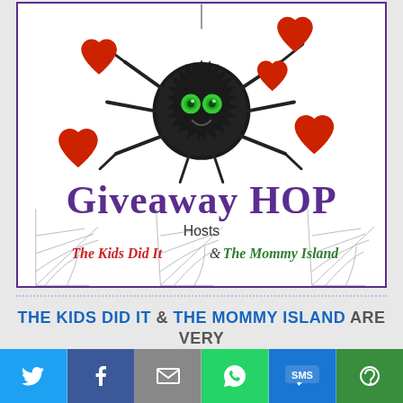[Figure (illustration): Giveaway Hop promotional image featuring a fuzzy black spider holding red hearts, with text 'Giveaway HOP' in purple, 'Hosts', 'The Kids Did It' in red and 'The Mommy Island' in green, and spider web decorations at the bottom]
THE KIDS DID IT & THE MOMMY ISLAND ARE VERY
[Figure (infographic): Social sharing bar with Twitter, Facebook, Email, WhatsApp, SMS, and More buttons]